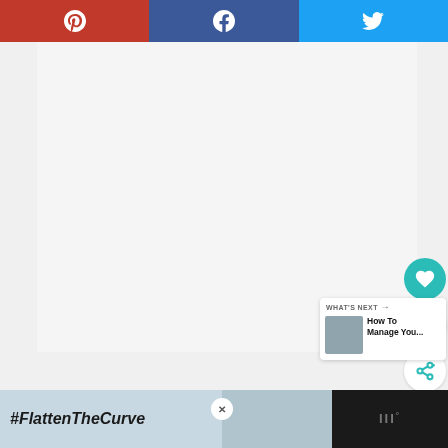[Figure (screenshot): Social share bar with Pinterest (red), Facebook (dark blue), Twitter (light blue) buttons across the top]
[Figure (screenshot): White content area placeholder (blank article image area)]
[Figure (screenshot): Sidebar interaction buttons: teal heart/like button, count showing 200, share icon button]
200
[Figure (screenshot): What's Next card with thumbnail and text: How To Manage You...]
[Figure (screenshot): Ad banner at bottom: #FlattenTheCurve with image of hands washing and logo]